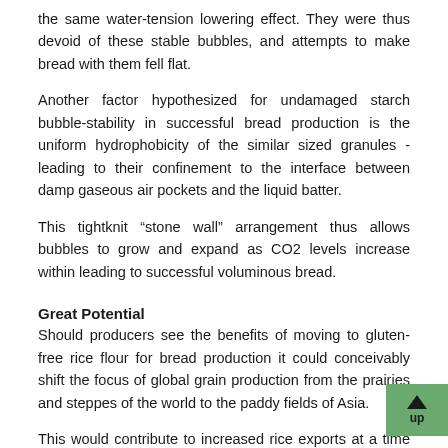the same water-tension lowering effect. They were thus devoid of these stable bubbles, and attempts to make bread with them fell flat.
Another factor hypothesized for undamaged starch bubble-stability in successful bread production is the uniform hydrophobicity of the similar sized granules - leading to their confinement to the interface between damp gaseous air pockets and the liquid batter.
This tightknit “stone wall” arrangement thus allows bubbles to grow and expand as CO2 levels increase within leading to successful voluminous bread.
Great Potential
Should producers see the benefits of moving to gluten-free rice flour for bread production it could conceivably shift the focus of global grain production from the prairies and steppes of the world to the paddy fields of Asia.
This would contribute to increased rice exports at a time w consumption of the staple has decreased with the adoptio western dietary habits – including ironically the eating of more